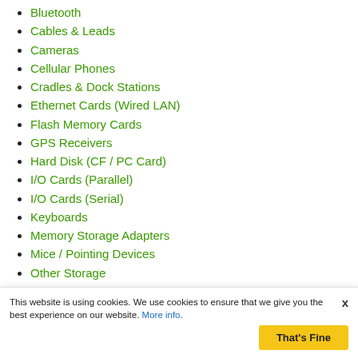Bluetooth
Cables & Leads
Cameras
Cellular Phones
Cradles & Dock Stations
Ethernet Cards (Wired LAN)
Flash Memory Cards
GPS Receivers
Hard Disk (CF / PC Card)
I/O Cards (Parallel)
I/O Cards (Serial)
Keyboards
Memory Storage Adapters
Mice / Pointing Devices
Other Storage
Printers
Video devices
Wireless Data Modems
This website is using cookies. We use cookies to ensure that we give you the best experience on our website. More info. That's Fine